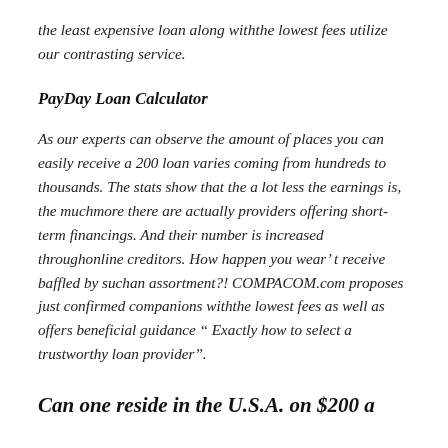the least expensive loan along withthe lowest fees utilize our contrasting service.
PayDay Loan Calculator
As our experts can observe the amount of places you can easily receive a 200 loan varies coming from hundreds to thousands. The stats show that the a lot less the earnings is, the muchmore there are actually providers offering short-term financings. And their number is increased throughonline creditors. How happen you wear’ t receive baffled by suchan assortment?! COMPACOM.com proposes just confirmed companions withthe lowest fees as well as offers beneficial guidance “ Exactly how to select a trustworthy loan provider”.
Can one reside in the U.S.A. on $200 a